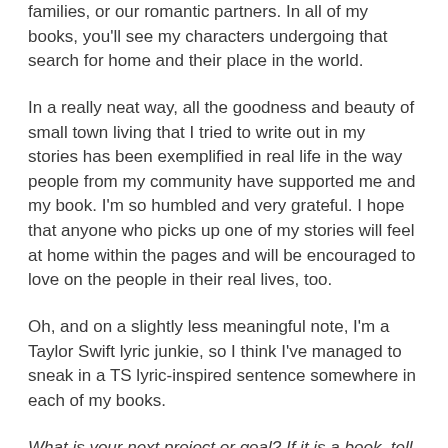families, or our romantic partners. In all of my books, you'll see my characters undergoing that search for home and their place in the world.
In a really neat way, all the goodness and beauty of small town living that I tried to write out in my stories has been exemplified in real life in the way people from my community have supported me and my book. I'm so humbled and very grateful. I hope that anyone who picks up one of my stories will feel at home within the pages and will be encouraged to love on the people in their real lives, too.
Oh, and on a slightly less meaningful note, I'm a Taylor Swift lyric junkie, so I think I've managed to sneak in a TS lyric-inspired sentence somewhere in each of my books.
What is your next project or goal? If it is a book, tell us about it and when you hope to publish it.